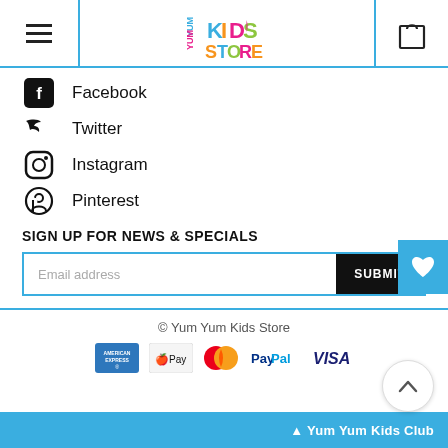[Figure (logo): Yum Yum Kids Store colorful logo in header]
Facebook
Twitter
Instagram
Pinterest
SIGN UP FOR NEWS & SPECIALS
Email address
© Yum Yum Kids Store
[Figure (logo): Payment icons: American Express, Apple Pay, Mastercard, PayPal, VISA]
Yum Yum Kids Club